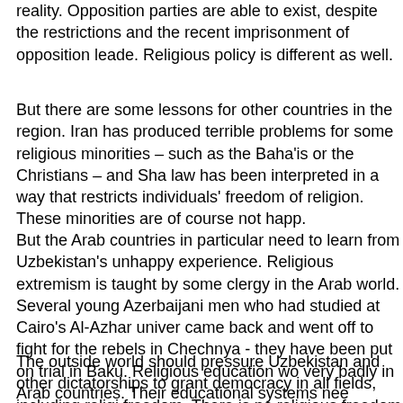reality. Opposition parties are able to exist, despite the restrictions and the recent imprisonment of opposition leaders. Religious policy is different as well.
But there are some lessons for other countries in the region. Iran has produced terrible problems for some religious minorities – such as the Baha'is or the Christians – and Sharia law has been interpreted in a way that restricts individuals' freedom of religion. These minorities are of course not happy.
But the Arab countries in particular need to learn from Uzbekistan's unhappy experience. Religious extremism is taught by some clergy in the Arab world. Several young Azerbaijani men who had studied at Cairo's Al-Azhar university came back and went off to fight for the rebels in Chechnya – they have been put on trial in Baku. Religious education works very badly in Arab countries. Their educational systems need profound changes, especially in Saudi Arabia.
The outside world should pressure Uzbekistan and other dictatorships to grant democracy in all fields, including religious freedom. There is no religious freedom without democracy. The outside world should push the Uzbek regime into a corner in